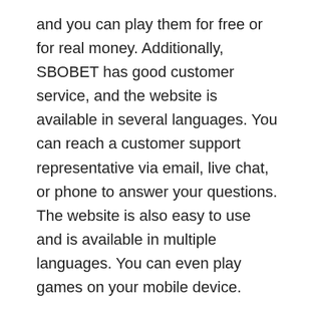and you can play them for free or for real money. Additionally, SBOBET has good customer service, and the website is available in several languages. You can reach a customer support representative via email, live chat, or phone to answer your questions. The website is also easy to use and is available in multiple languages. You can even play games on your mobile device.
If you want to play sbobet but are not sure how to start, you can visit the FAQ page of SBOBET. The FAQ page will tell you about the requirements. It also includes contact information and FAQs.